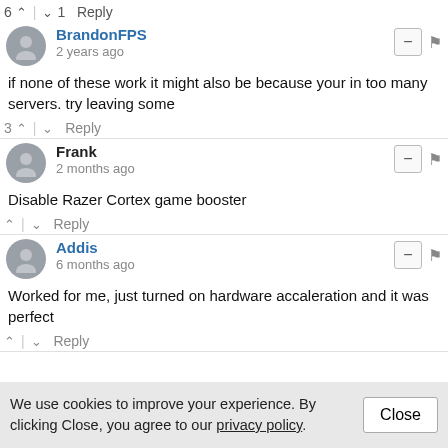6 ^ | v 1 Reply
BrandonFPS
2 years ago
if none of these work it might also be because your in too many servers. try leaving some
3 ^ | v Reply
Frank
2 months ago
Disable Razer Cortex game booster
^ | v Reply
Addis
6 months ago
Worked for me, just turned on hardware accaleration and it was perfect
^ | v Reply
We use cookies to improve your experience. By clicking Close, you agree to our privacy policy.